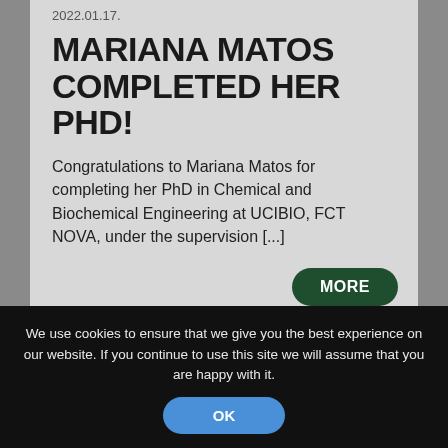2022.01.17.
MARIANA MATOS COMPLETED HER PHD!
Congratulations to Mariana Matos for completing her PhD in Chemical and Biochemical Engineering at UCIBIO, FCT NOVA, under the supervision [...]
MORE
We use cookies to ensure that we give you the best experience on our website. If you continue to use this site we will assume that you are happy with it.
OK